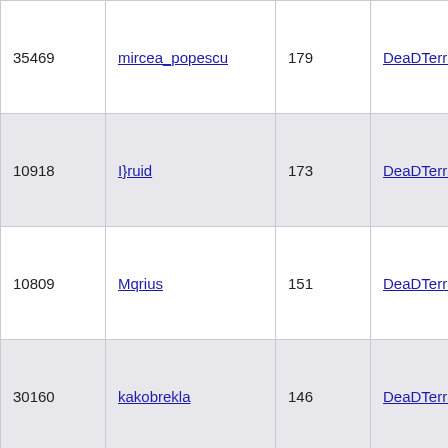| 35469 | mircea_popescu | 179 | DeaDTerra | 2014-06-01 22:5 |
| 10918 | I}ruid | 173 | DeaDTerra | 2012-05-12 16:5 |
| 10809 | Mqrius | 151 | DeaDTerra | 2012-08-14 09:0 |
| 30160 | kakobrekla | 146 | DeaDTerra | 2013-09-04 22:4 |